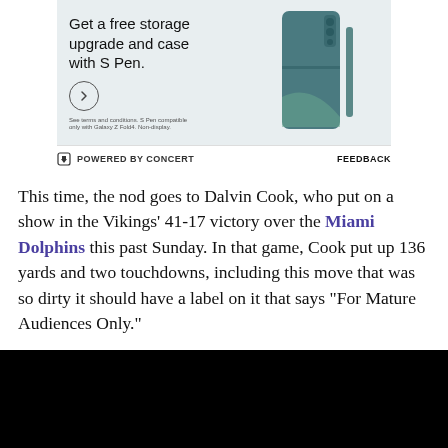[Figure (photo): Samsung Galaxy Z Fold4 advertisement showing a teal-colored folding phone with S Pen, text reading 'Get a free storage upgrade and case with S Pen.' with an arrow circle button and fine print about terms and conditions. Powered by Concert bar at bottom with Feedback link.]
This time, the nod goes to Dalvin Cook, who put on a show in the Vikings' 41-17 victory over the Miami Dolphins this past Sunday. In that game, Cook put up 136 yards and two touchdowns, including this move that was so dirty it should have a label on it that says “For Mature Audiences Only.”
[Figure (screenshot): Black video player placeholder area]